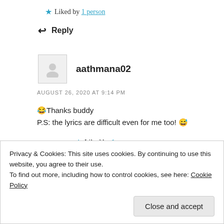★ Liked by 1 person
↩ Reply
aathmana02
AUGUST 26, 2020 AT 9:14 PM
😂Thanks buddy
P.S: the lyrics are difficult even for me too! 😅
★ Liked by 1 person
Privacy & Cookies: This site uses cookies. By continuing to use this website, you agree to their use.
To find out more, including how to control cookies, see here: Cookie Policy
Close and accept
REPLY